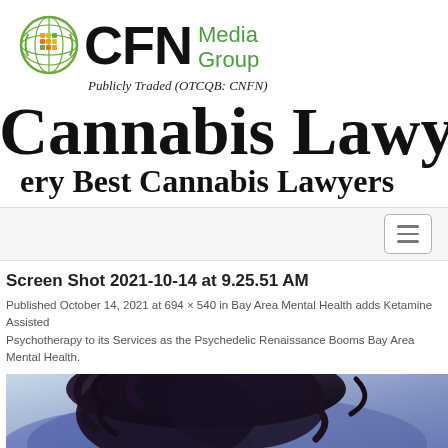[Figure (logo): CFN Media Group logo with globe graphic and text 'CFN Media Group', subtitle 'Publicly Traded (OTCQB: CNFN)']
o Cannabis Lawyers
ery Best Cannabis Lawyers
[Figure (screenshot): Navigation bar with hamburger menu button on the right]
Screen Shot 2021-10-14 at 9.25.51 AM
Published October 14, 2021 at 694 × 540 in Bay Area Mental Health adds Ketamine Assisted Psychotherapy to its Services as the Psychedelic Renaissance Booms Bay Area Mental Health.
[Figure (photo): Partial photo showing a person with dark curly hair against a blue-tinted background]